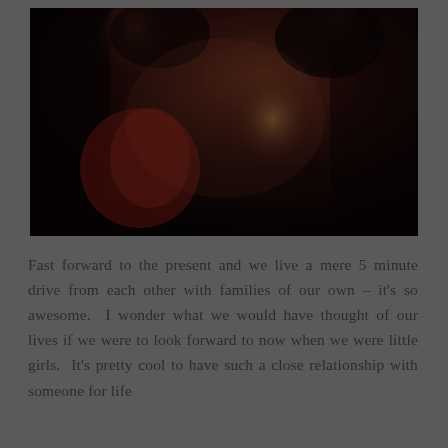[Figure (photo): A dark, moody photograph of two people kissing or embracing closely, one wearing a red top. The image is dimly lit with warm tones in the background.]
Fast forward to the present and we live a mere 5 minute drive from each other with families of our own – it's so awesome.  I wonder what we would have thought of our lives if we were to look forward to now when we were little girls.  It's pretty cool to have such a close relationship with someone for life